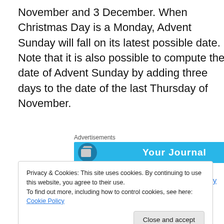November and 3 December. When Christmas Day is a Monday, Advent Sunday will fall on its latest possible date. Note that it is also possible to compute the date of Advent Sunday by adding three days to the date of the last Thursday of November.
[Figure (screenshot): Advertisement banner with blue background showing 'Your Journal' text and book icon]
http://en.wikipedia.org/wiki/Advent_Sunday
Privacy & Cookies: This site uses cookies. By continuing to use this website, you agree to their use.
To find out more, including how to control cookies, see here: Cookie Policy